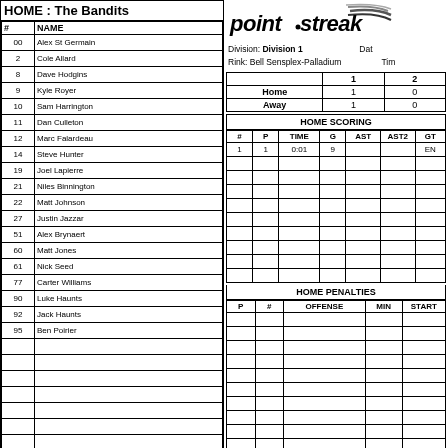HOME : The Bandits
| # | NAME |
| --- | --- |
| 00 | Alex St Germain |
| 2 | Cole Allard |
| 8 | Dave Hodgins |
| 9 | Kyle Royer |
| 10 | Sam Harrington |
| 11 | Dan Culleton |
| 12 | Marc Falardeau |
| 14 | Steve Hunter |
| 19 | Joel Lapierre |
| 21 | Niles Binnington |
| 22 | Matt Johnson |
| 27 | Justin Jazzar |
| 51 | Alex Brynaert |
| 60 | Matt Jones |
| 61 | Nick Seed |
| 77 | Carter Williams |
| 90 | Luke Haunts |
| 92 | Jack Haunts |
| 95 | Ben Poirier |
|  |  |
|  |  |
|  |  |
|  |  |
|  |  |
|  |  |
|  |  |
|  |  |
HOME GOALIE STATS
| NAME | MIN | SHOTS | SAVES |
| --- | --- | --- | --- |
|   |   |   |   |
COACH SIGNOFF
H. COACH -
X
[Figure (logo): Pointstreak logo]
Division: Division 1   Rink: Bell Sensplex-Palladium   Date:  Time:
|  | 1 | 2 |
| --- | --- | --- |
| Home | 1 | 0 |
| Away | 1 | 0 |
HOME SCORING
| # | P | TIME | G | AST | AST2 | GT |
| --- | --- | --- | --- | --- | --- | --- |
| 1 | 1 | 0:01 | 9 |  |  | EN |
|  |  |  |  |  |  |  |
|  |  |  |  |  |  |  |
|  |  |  |  |  |  |  |
|  |  |  |  |  |  |  |
|  |  |  |  |  |  |  |
|  |  |  |  |  |  |  |
|  |  |  |  |  |  |  |
|  |  |  |  |  |  |  |
|  |  |  |  |  |  |  |
HOME PENALTIES
| P | # | OFFENSE | MIN | START |
| --- | --- | --- | --- | --- |
|  |  |  |  |  |
|  |  |  |  |  |
|  |  |  |  |  |
|  |  |  |  |  |
|  |  |  |  |  |
|  |  |  |  |  |
|  |  |  |  |  |
|  |  |  |  |  |
|  |  |  |  |  |
|  |  |  |  |  |
|  |  |  |  |  |
|  |  |  |  |  |
|  |  |  |  |  |
|  |  |  |  |  |
|  |  |  |  |  |